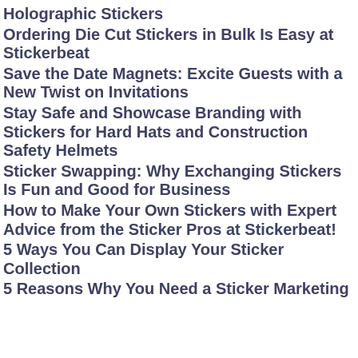Holographic Stickers
Ordering Die Cut Stickers in Bulk Is Easy at Stickerbeat
Save the Date Magnets: Excite Guests with a New Twist on Invitations
Stay Safe and Showcase Branding with Stickers for Hard Hats and Construction Safety Helmets
Sticker Swapping: Why Exchanging Stickers Is Fun and Good for Business
How to Make Your Own Stickers with Expert Advice from the Sticker Pros at Stickerbeat!
5 Ways You Can Display Your Sticker Collection
5 Reasons Why You Need a Sticker Marketing